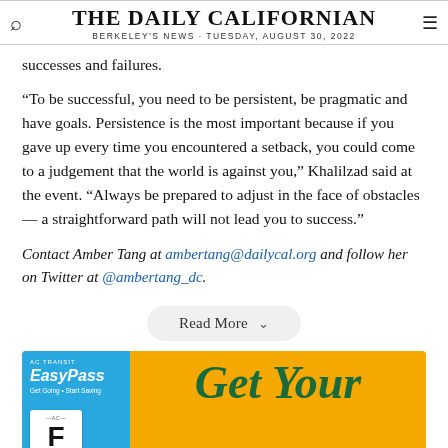THE DAILY CALIFORNIAN
BERKELEY'S NEWS · TUESDAY, AUGUST 30, 2022
successes and failures.
“To be successful, you need to be persistent, be pragmatic and have goals. Persistence is the most important because if you gave up every time you encountered a setback, you could come to a judgement that the world is against you,” Khalilzad said at the event. “Always be prepared to adjust in the face of obstacles — a straightforward path will not lead you to success.”
Contact Amber Tang at ambertang@dailycal.org and follow her on Twitter at @ambertang_dc.
[Figure (other): Read More button with chevron dropdown indicator]
[Figure (other): AC Transit EasyPass advertisement with Get Your pass text on yellow background]